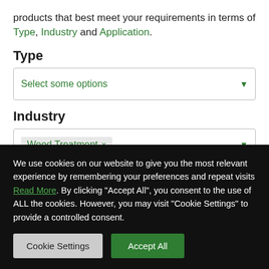products that best meet your requirements in terms of Type, Industry and Application.
Type
Select some options
Industry
Wood Treatment ×
We use cookies on our website to give you the most relevant experience by remembering your preferences and repeat visits Read More. By clicking "Accept All", you consent to the use of ALL the cookies. However, you may visit "Cookie Settings" to provide a controlled consent.
Cookie Settings
Accept All